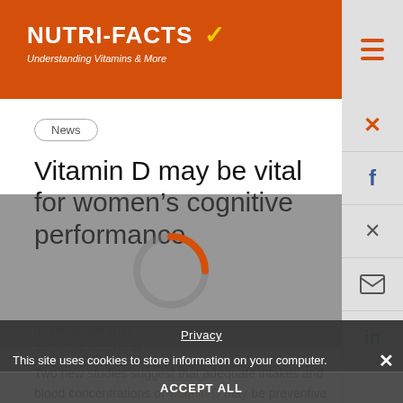NUTRI-FACTS Understanding Vitamins & More
Vitamin D may be vital for women's cognitive performance
07 December 2012
Two new studies suggest that adequate intakes and blood concentrations of vitamin D may be preventive in cognitive decline in women. In a French study, 450 women aged 75 years and older
[Figure (screenshot): Cookie consent overlay with Privacy heading, ACCEPT ALL, DECLINE ALL, MANAGE SETTINGS buttons and Learn more button]
Privacy
This site uses cookies to store information on your computer.
ACCEPT ALL
DECLINE ALL
MANAGE SETTINGS
Learn more